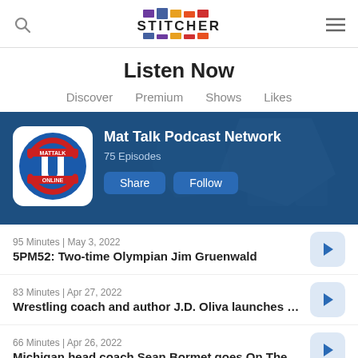Stitcher — Listen Now
Listen Now
Discover  Premium  Shows  Likes
[Figure (screenshot): Mat Talk Podcast Network banner with logo, 75 Episodes, Share and Follow buttons on a dark blue background]
95 Minutes | May 3, 2022
5PM52: Two-time Olympian Jim Gruenwald
83 Minutes | Apr 27, 2022
Wrestling coach and author J.D. Oliva launches his …
66 Minutes | Apr 26, 2022
Michigan head coach Sean Bormet goes On The M…
26 Minutes | Apr 26, 2022